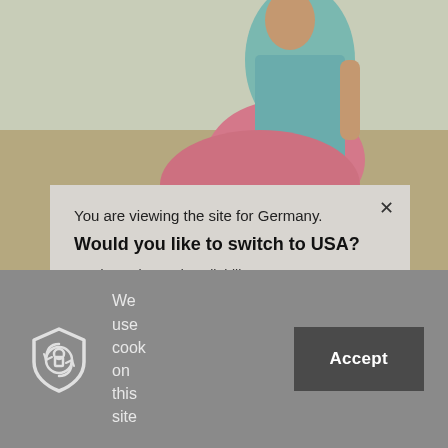[Figure (photo): Fashion photo of a person in a turquoise top and pink skirt against a sandy/outdoor background, partially obscured by overlaying modal dialogs]
You are viewing the site for Germany.
Would you like to switch to USA?
Product price and availability may vary.
Switch to USA
We use cook on this site
Accept